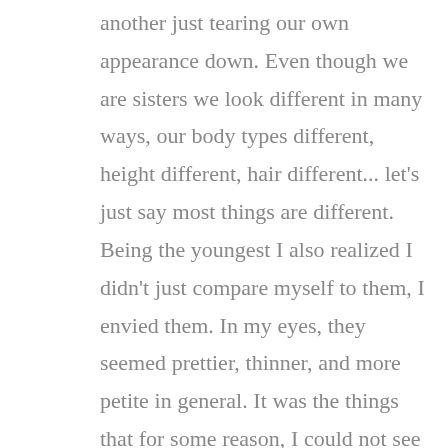another just tearing our own appearance down. Even though we are sisters we look different in many ways, our body types different, height different, hair different... let's just say most things are different. Being the youngest I also realized I didn't just compare myself to them, I envied them. In my eyes, they seemed prettier, thinner, and more petite in general. It was the things that for some reason, I could not see in myself, yet an outsider would laugh at these statements I am making. But that is the whole point, isn't it! I could not see the truth in what I look like, my vision, a blurred sick description I have on repeat in my mind. We tend to all think this way, picking apart ourselves and many times trying to